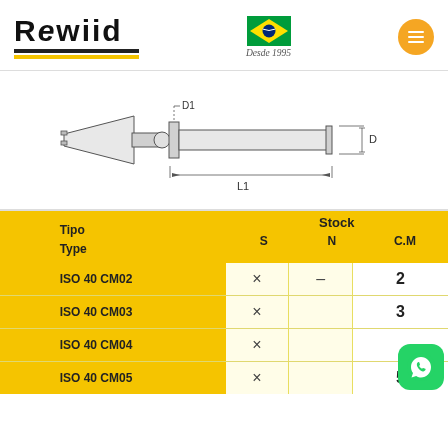[Figure (logo): Rewiid logo with black and yellow underlines]
[Figure (logo): Brazilian flag with 'Desde 1995' text below]
[Figure (engineering-diagram): Technical drawing of an ISO 40 tool holder showing dimensions D1, D, and L1]
| Tipo / Type | Stock S | Stock N | Stock C.M |
| --- | --- | --- | --- |
| ISO 40 CM02 | × | – | 2 |
| ISO 40 CM03 | × |  | 3 |
| ISO 40 CM04 | × |  |  |
| ISO 40 CM05 | × |  | 5 |